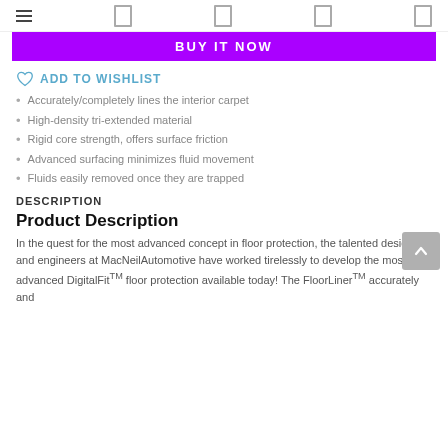≡  □  □  □  □
BUY IT NOW
ADD TO WISHLIST
Accurately/completely lines the interior carpet
High-density tri-extended material
Rigid core strength, offers surface friction
Advanced surfacing minimizes fluid movement
Fluids easily removed once they are trapped
DESCRIPTION
Product Description
In the quest for the most advanced concept in floor protection, the talented designers and engineers at MacNeilAutomotive have worked tirelessly to develop the most advanced DigitalFitTM floor protection available today! The FloorLinerTM accurately and